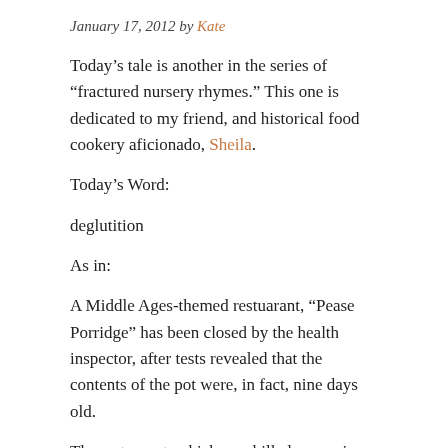January 17, 2012 by Kate
Today's tale is another in the series of “fractured nursery rhymes.” This one is dedicated to my friend, and historical food cookery aficionado, Sheila.
Today’s Word:
deglutition
As in:
A Middle Ages-themed restuarant, “Pease Porridge” has been closed by the health inspector, after tests revealed that the contents of the pot were, in fact, nine days old.
The restuarant, which was billed as serving authentic recipes from 16th century Europe, opened seven months ago to mixed reviews. Several critics complimented the venue’s authenticity, and even